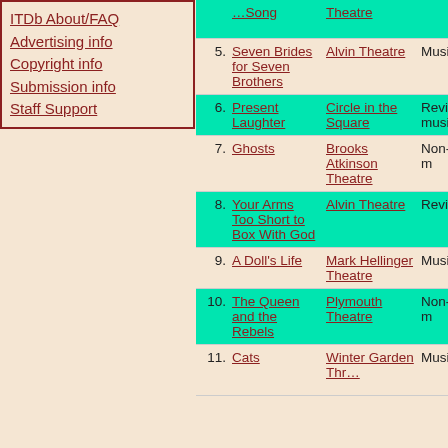ITDb About/FAQ
Advertising info
Copyright info
Submission info
Staff Support
| # | Title | Theatre | Type |
| --- | --- | --- | --- |
|  | ...Song | ...Theatre |  |
| 5. | Seven Brides for Seven Brothers | Alvin Theatre | Musical |
| 6. | Present Laughter | Circle in the Square | Revival musical |
| 7. | Ghosts | Brooks Atkinson Theatre | Non-m |
| 8. | Your Arms Too Short to Box With God | Alvin Theatre | Revival |
| 9. | A Doll's Life | Mark Hellinger Theatre | Musical |
| 10. | The Queen and the Rebels | Plymouth Theatre | Non-m |
| 11. | Cats | Winter Garden Theatre | Musical |